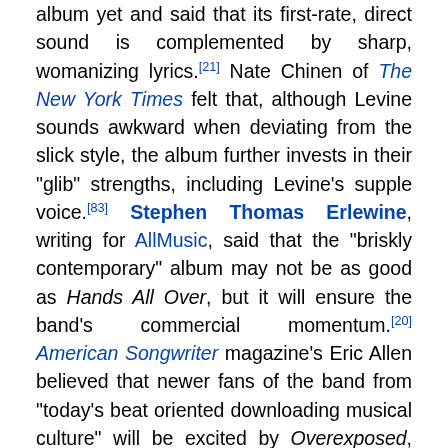album yet and said that its first-rate, direct sound is complemented by sharp, womanizing lyrics.[21] Nate Chinen of The New York Times felt that, although Levine sounds awkward when deviating from the slick style, the album further invests in their "glib" strengths, including Levine's supple voice.[83] Stephen Thomas Erlewine, writing for AllMusic, said that the "briskly contemporary" album may not be as good as Hands All Over, but it will ensure the band's commercial momentum.[20] American Songwriter magazine's Eric Allen believed that newer fans of the band from "today's beat oriented downloading musical culture" will be excited by Overexposed, although it may alienate their older fans and "music snobs".[17]
Commercial